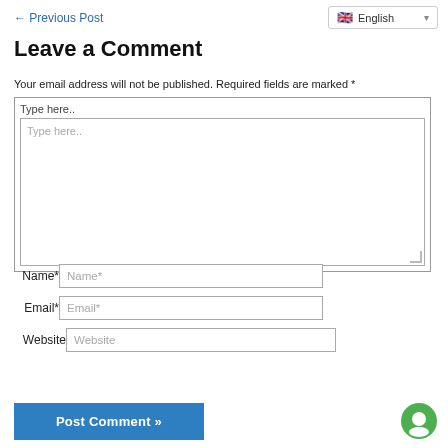← Previous Post
🇬🇧 English ▾
Leave a Comment
Your email address will not be published. Required fields are marked *
Type here..
Name*
Email*
Website
Post Comment »